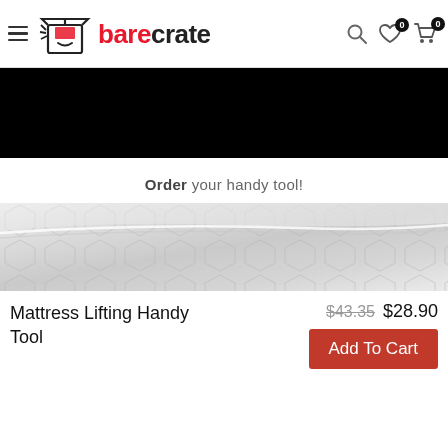[Figure (logo): BareCrate logo with box icon and red/black text]
[Figure (photo): Black banner image (contents obscured/dark)]
Order your handy tool!
[Figure (photo): Close-up photo of a white mattress surface showing quilted texture and curved edge]
Mattress Lifting Handy Tool
$43.35 $28.90
Add To Cart